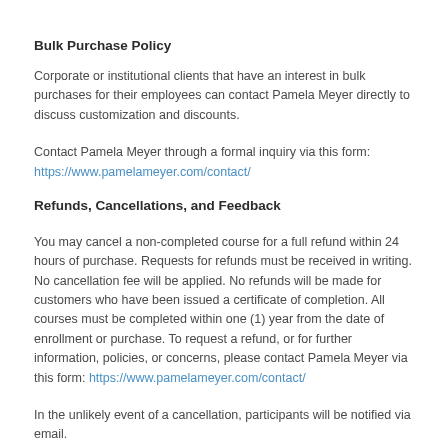Bulk Purchase Policy
Corporate or institutional clients that have an interest in bulk purchases for their employees can contact Pamela Meyer directly to discuss customization and discounts.
Contact Pamela Meyer through a formal inquiry via this form:
https://www.pamelameyer.com/contact/
Refunds, Cancellations, and Feedback
You may cancel a non-completed course for a full refund within 24 hours of purchase. Requests for refunds must be received in writing. No cancellation fee will be applied. No refunds will be made for customers who have been issued a certificate of completion. All courses must be completed within one (1) year from the date of enrollment or purchase. To request a refund, or for further information, policies, or concerns, please contact Pamela Meyer via this form: https://www.pamelameyer.com/contact/
In the unlikely event of a cancellation, participants will be notified via email.
Upon completion of the course, a feedback form will be made available to participants via email.